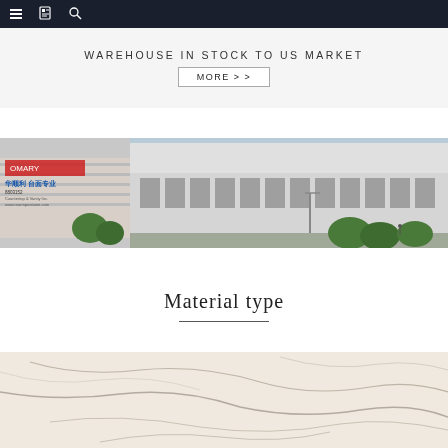navigation bar with menu, bookmark, and search icons
WAREHOUSE IN STOCK TO US MARKET
MORE > >
[Figure (photo): Panoramic photo of a factory/warehouse building exterior with Chinese signage on the left side showing red and blue text, and a large modern industrial warehouse building on the right under a blue sky]
Material type
[Figure (photo): Close-up photo of a white/cream stone or quartz surface with thin grey veining lines running across it]